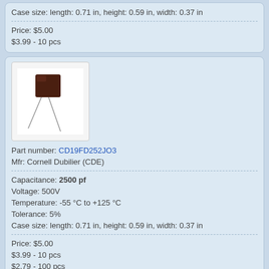Case size: length: 0.71 in, height: 0.59 in, width: 0.37 in
Price: $5.00
$3.99 - 10 pcs
[Figure (photo): Brown rectangular capacitor component with two metal leads extending from the bottom, on a white background]
Part number: CD19FD252JO3
Mfr: Cornell Dubilier (CDE)
Capacitance: 2500 pf
Voltage: 500V
Temperature: -55 °C to +125 °C
Tolerance: 5%
Case size: length: 0.71 in, height: 0.59 in, width: 0.37 in
Price: $5.00
$3.99 - 10 pcs
$2.79 - 100 pcs
[Figure (photo): Partial view of a capacitor component image at bottom of page]